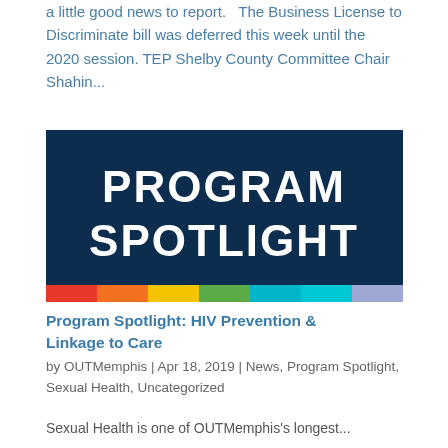a little good news to report.   The Business License to Discriminate bill was deferred this week until the 2020 session. TEP Shelby County Committee Chair Shahin...
[Figure (illustration): Dark navy blue banner image with bold white text reading 'PROGRAM SPOTLIGHT' and a rainbow-colored stripe along the bottom (red, orange, yellow, green, teal, cyan, light purple)]
Program Spotlight: HIV Prevention & Linkage to Care
by OUTMemphis | Apr 18, 2019 | News, Program Spotlight, Sexual Health, Uncategorized
Sexual Health is one of OUTMemphis's longest...